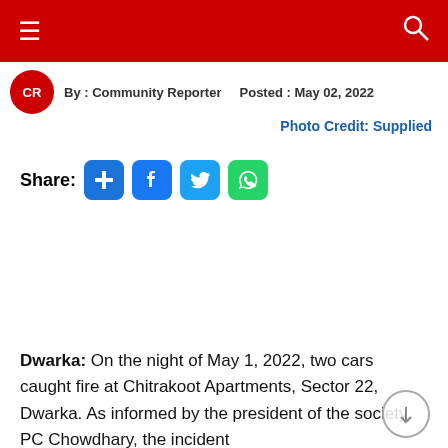Navigation bar with hamburger menu and search icon
By : Community Reporter   Posted : May 02, 2022
Photo Credit: Supplied
Share:
Dwarka: On the night of May 1, 2022, two cars caught fire at Chitrakoot Apartments, Sector 22, Dwarka. As informed by the president of the society, PC Chowdhary, the incident